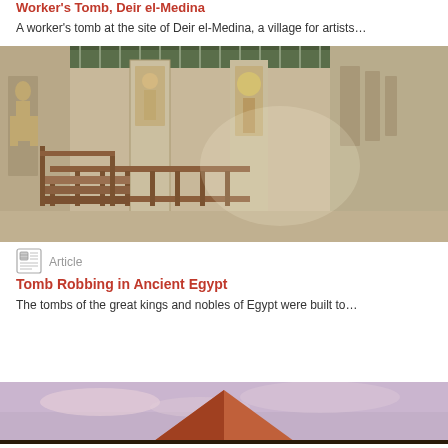Worker's Tomb, Deir el-Medina
A worker's tomb at the site of Deir el-Medina, a village for artists…
[Figure (photo): Interior of an ancient Egyptian tomb at Deir el-Medina showing decorated columns, hieroglyphic murals, and wooden railings]
Article
Tomb Robbing in Ancient Egypt
The tombs of the great kings and nobles of Egypt were built to…
[Figure (photo): A pyramid at dusk with a pink and blue sky in the background]